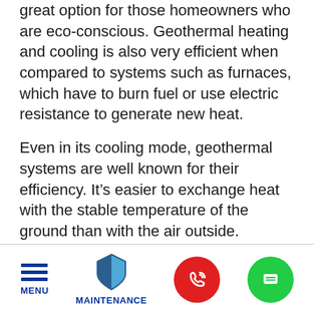great option for those homeowners who are eco-conscious. Geothermal heating and cooling is also very efficient when compared to systems such as furnaces, which have to burn fuel or use electric resistance to generate new heat.
Even in its cooling mode, geothermal systems are well known for their efficiency. It’s easier to exchange heat with the stable temperature of the ground than with the air outside. Additionally, there is an added benefit of convenience: you only have to use one system all year round for comfort!
[Figure (infographic): Mobile app navigation footer bar with four items: hamburger menu icon labeled MENU, a shield icon labeled MAINTENANCE, a red circle phone/call button, and a green circle chat button.]